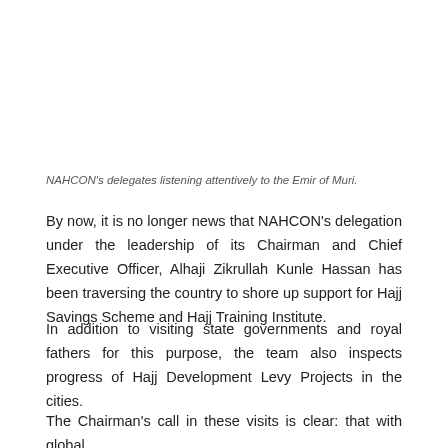NAHCON's delegates listening attentively to the Emir of Muri.
By now, it is no longer news that NAHCON's delegation under the leadership of its Chairman and Chief Executive Officer, Alhaji Zikrullah Kunle Hassan has been traversing the country to shore up support for Hajj Savings Scheme and Hajj Training Institute.
In addition to visiting state governments and royal fathers for this purpose, the team also inspects progress of Hajj Development Levy Projects in the cities.
The Chairman's call in these visits is clear: that with global